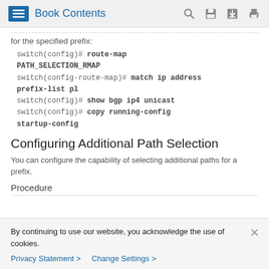Book Contents
for the specified prefix:
switch(config)# route-map PATH_SELECTION_RMAP
switch(config-route-map)# match ip address prefix-list pl
switch(config)# show bgp ip4 unicast
switch(config)# copy running-config startup-config
Configuring Additional Path Selection
You can configure the capability of selecting additional paths for a prefix.
Procedure
By continuing to use our website, you acknowledge the use of cookies.
Privacy Statement > Change Settings >